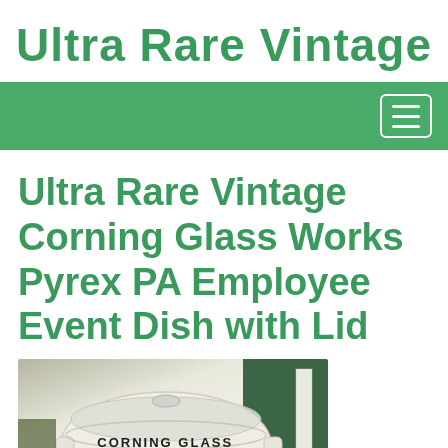Ultra Rare Vintage
Ultra Rare Vintage Corning Glass Works Pyrex PA Employee Event Dish with Lid
[Figure (photo): A white Pyrex dish with a clear lid sitting on a wooden surface against a dark green background. The dish has text that reads 'CORNING GLASS WORKS GREENCASTLE, PA.' printed on it.]